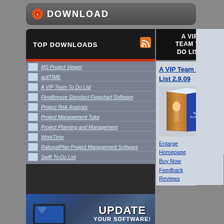DOWNLOAD
TOP DOWNLOADS
A VIP TEAM TO DO LIST
MS Project Viewer
actiTIME
A VIP Team To Do List
FlowBreeze Standard Flowchart Software
Project Risk Analysis
Project Management Tutor
Project Planning and Management
WorkTime
RationalPlan Project Management Software
Swift To-Do List
[Figure (screenshot): Update Your Software promotional banner with laptop graphic]
A VIP Team To Do List 2.9.09
[Figure (photo): Product box for A VIP Team To Do List software]
Enlarge
Homepage
Buy Now
Feedback
Reviews